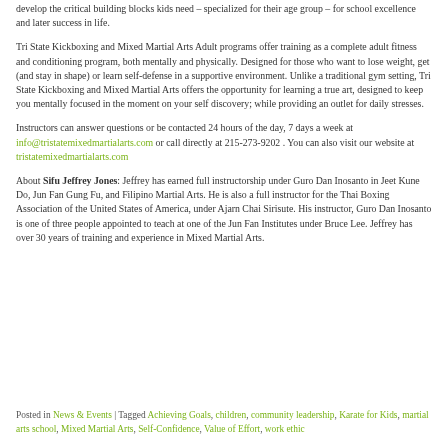develop the critical building blocks kids need – specialized for their age group – for school excellence and later success in life.
Tri State Kickboxing and Mixed Martial Arts Adult programs offer training as a complete adult fitness and conditioning program, both mentally and physically. Designed for those who want to lose weight, get (and stay in shape) or learn self-defense in a supportive environment. Unlike a traditional gym setting, Tri State Kickboxing and Mixed Martial Arts offers the opportunity for learning a true art, designed to keep you mentally focused in the moment on your self discovery; while providing an outlet for daily stresses.
Instructors can answer questions or be contacted 24 hours of the day, 7 days a week at info@tristatemixedmartialarts.com or call directly at 215-273-9202 . You can also visit our website at tristatemixedmartialarts.com
About Sifu Jeffrey Jones: Jeffrey has earned full instructorship under Guro Dan Inosanto in Jeet Kune Do, Jun Fan Gung Fu, and Filipino Martial Arts. He is also a full instructor for the Thai Boxing Association of the United States of America, under Ajarn Chai Sirisute. His instructor, Guro Dan Inosanto is one of three people appointed to teach at one of the Jun Fan Institutes under Bruce Lee. Jeffrey has over 30 years of training and experience in Mixed Martial Arts.
Posted in News & Events | Tagged Achieving Goals, children, community leadership, Karate for Kids, martial arts school, Mixed Martial Arts, Self-Confidence, Value of Effort, work ethic